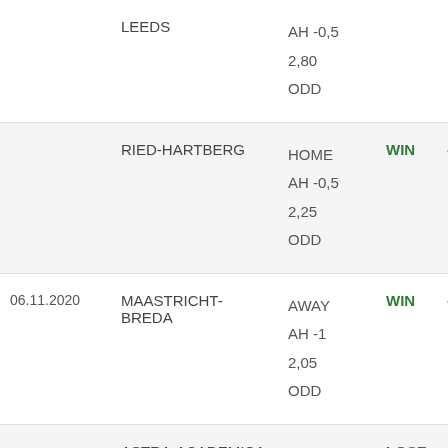| Date | Match | Bet Info | Result | Amount |
| --- | --- | --- | --- | --- |
|  | LEEDS | AH -0,5
2,80
ODD |  |  |
|  | RIED-HARTBERG | HOME
AH -0,5
2,25
ODD | WIN | - |
| 06.11.2020 | MAASTRICHT-BREDA | AWAY
AH -1
2,05
ODD | WIN | - |
|  | ASTRA-ACADEMICA CLINCENI | HOME
AH -0,5
2,35 | LOSE | - |